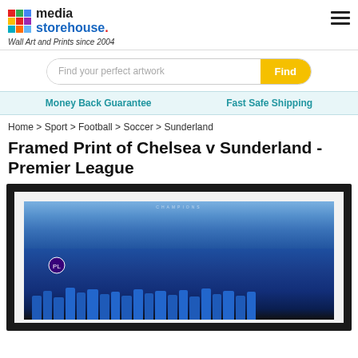[Figure (logo): Media Storehouse colorful grid logo with 'media storehouse.' text and tagline 'Wall Art and Prints since 2004']
[Figure (other): Hamburger menu icon (three horizontal lines) in top right corner]
[Figure (other): Search bar with placeholder 'Find your perfect artwork' and yellow 'Find' button]
Money Back Guarantee
Fast Safe Shipping
Home > Sport > Football > Soccer > Sunderland
Framed Print of Chelsea v Sunderland - Premier League
[Figure (photo): Framed print product photo showing Chelsea vs Sunderland Premier League match, players celebrating with crowd in background, dark frame with white mat border]